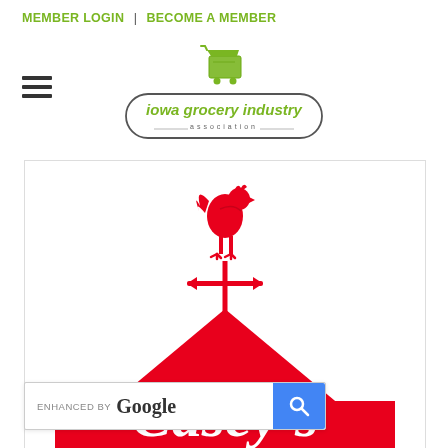MEMBER LOGIN | BECOME A MEMBER
[Figure (logo): Iowa Grocery Industry Association logo with green shopping cart icon above rounded rectangle border containing italic green text 'iowa grocery industry' and smaller text 'association']
[Figure (logo): Casey's General Stores logo — red rooster weathervane on top of a red barn roof shape with white cursive 'Casey's' text]
[Figure (other): Google enhanced search bar with blue search button and magnifying glass icon]